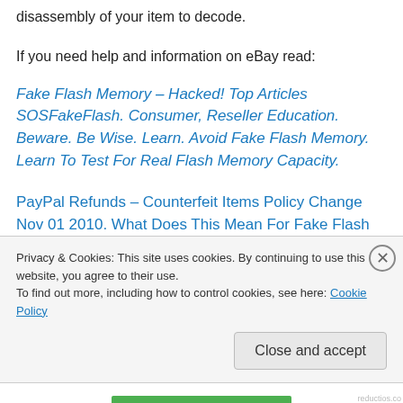disassembly of your item to decode.
If you need help and information on eBay read:
Fake Flash Memory – Hacked! Top Articles SOSFakeFlash. Consumer, Reseller Education. Beware. Be Wise. Learn. Avoid Fake Flash Memory. Learn To Test For Real Flash Memory Capacity.
PayPal Refunds – Counterfeit Items Policy Change Nov 01 2010. What Does This Mean For Fake Flash Memory? MP Players, USB Flash Drives, Memory Cards? Hacked
Privacy & Cookies: This site uses cookies. By continuing to use this website, you agree to their use.
To find out more, including how to control cookies, see here: Cookie Policy
Close and accept